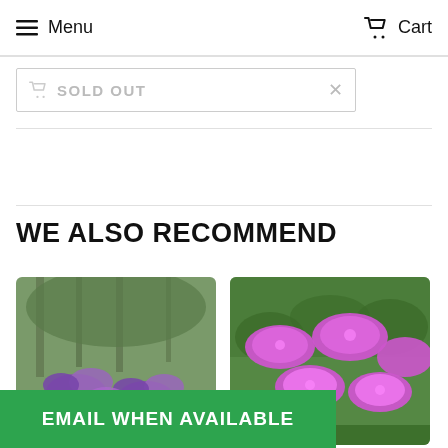Menu  Cart
SOLD OUT
WE ALSO RECOMMEND
[Figure (photo): Purple flowering plants in a garden setting with trees in background]
[Figure (photo): Close-up of bright purple flowering plants (monarda/bee balm) in bloom]
EMAIL WHEN AVAILABLE